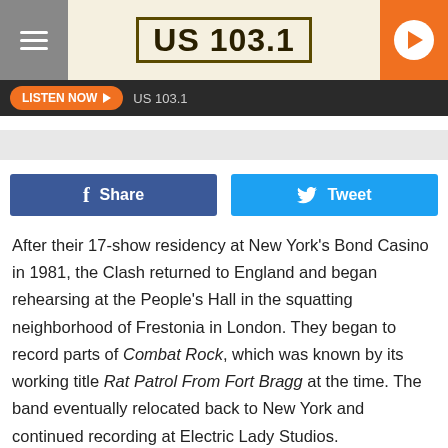US 103.1
[Figure (logo): US 103.1 radio station logo in military stencil style text inside a rectangular border]
LISTEN NOW  US 103.1
Share   Tweet
After their 17-show residency at New York's Bond Casino in 1981, the Clash returned to England and began rehearsing at the People's Hall in the squatting neighborhood of Frestonia in London. They began to record parts of Combat Rock, which was known by its working title Rat Patrol From Fort Bragg at the time. The band eventually relocated back to New York and continued recording at Electric Lady Studios.
The supplementary tracks included on The People's